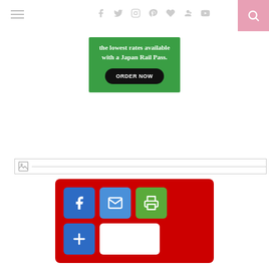Navigation header with hamburger menu, social icons (facebook, twitter, instagram, pinterest, heart, google+, youtube), and search button
[Figure (other): Green advertisement banner for Japan Rail Pass with text 'the lowest rates available with a Japan Rail Pass.' and a black 'ORDER NOW' button]
[Figure (other): Broken image placeholder with small image icon and horizontal line]
[Figure (other): Red social sharing box with Facebook (blue), Mail (blue), Print (green) and AddThis (blue) plus white share button icons]